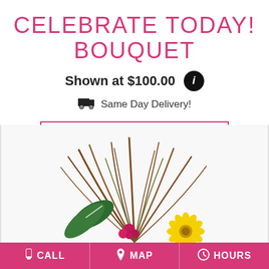CELEBRATE TODAY! BOUQUET
Shown at $100.00
Same Day Delivery!
BUY NOW
[Figure (photo): Floral bouquet with tall spiky brown-green grass, large green leaves, pink/red flowers and a yellow daisy/gerbera flower]
CALL   MAP   HOURS